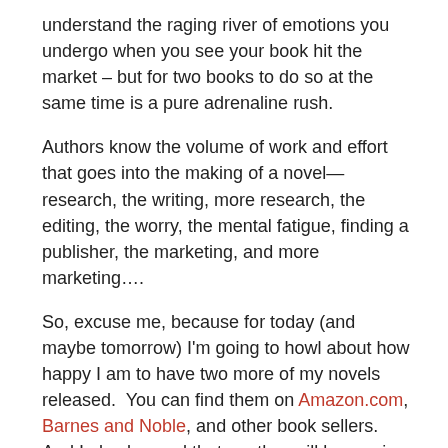understand the raging river of emotions you undergo when you see your book hit the market – but for two books to do so at the same time is a pure adrenaline rush.
Authors know the volume of work and effort that goes into the making of a novel—research, the writing, more research, the editing, the worry, the mental fatigue, finding a publisher, the marketing, and more marketing….
So, excuse me, because for today (and maybe tomorrow) I'm going to howl about how happy I am to have two more of my novels released.  You can find them on Amazon.com, Barnes and Noble, and other book sellers. And I also learned that another will be coming out soon in e-book, but I have to wait a few more weeks.
My sincere gratitude to fellow authors and friends